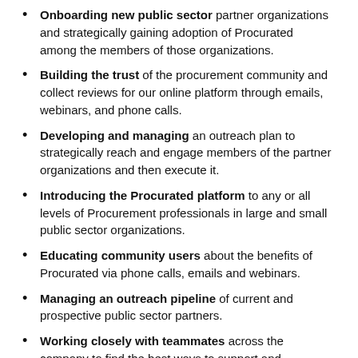Onboarding new public sector partner organizations and strategically gaining adoption of Procurated among the members of those organizations.
Building the trust of the procurement community and collect reviews for our online platform through emails, webinars, and phone calls.
Developing and managing an outreach plan to strategically reach and engage members of the partner organizations and then execute it.
Introducing the Procurated platform to any or all levels of Procurement professionals in large and small public sector organizations.
Educating community users about the benefits of Procurated via phone calls, emails and webinars.
Managing an outreach pipeline of current and prospective public sector partners.
Working closely with teammates across the company to find the best ways to support and celebrate the most active Procurated community users.
Gathering testimonials and success stories from the Community users.
Traveling (overnight) approximately twice a month, for which you